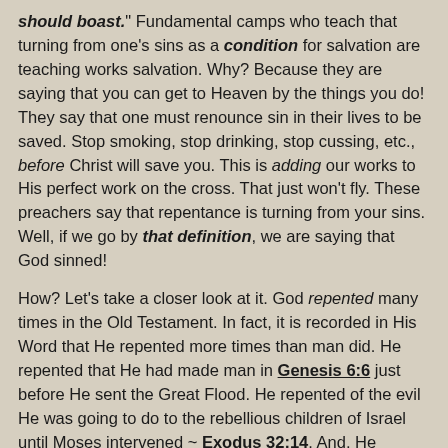should boast." Fundamental camps who teach that turning from one's sins as a condition for salvation are teaching works salvation. Why? Because they are saying that you can get to Heaven by the things you do! They say that one must renounce sin in their lives to be saved. Stop smoking, stop drinking, stop cussing, etc., before Christ will save you. This is adding our works to His perfect work on the cross. That just won't fly. These preachers say that repentance is turning from your sins. Well, if we go by that definition, we are saying that God sinned!
How? Let's take a closer look at it. God repented many times in the Old Testament. In fact, it is recorded in His Word that He repented more times than man did. He repented that He had made man in Genesis 6:6 just before He sent the Great Flood. He repented of the evil He was going to do to the rebellious children of Israel until Moses intervened ~ Exodus 32:14. And, He repented that He had made Saul king over Israel ~ 1 Samuel 15:35. There are several more instances where the Lord repented, which are found recorded in the O.T.